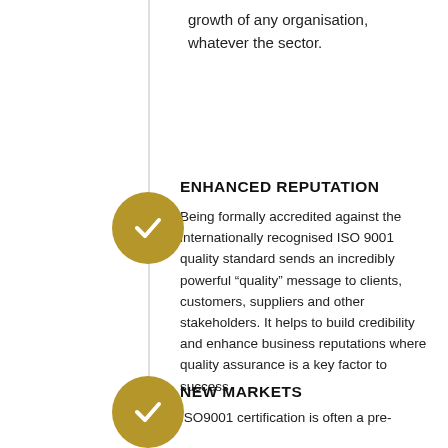growth of any organisation, whatever the sector.
ENHANCED REPUTATION
Being formally accredited against the internationally recognised ISO 9001 quality standard sends an incredibly powerful “quality” message to clients, customers, suppliers and other stakeholders. It helps to build credibility and enhance business reputations where quality assurance is a key factor to success.
NEW MARKETS
ISO9001 certification is often a pre-